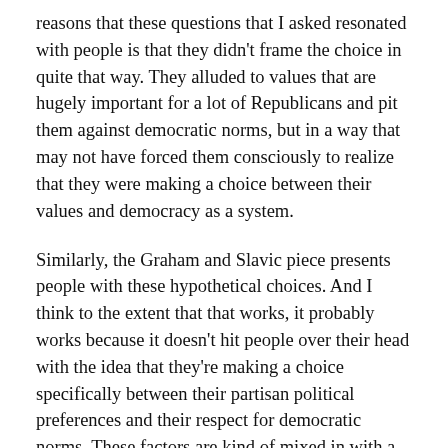reasons that these questions that I asked resonated with people is that they didn't frame the choice in quite that way. They alluded to values that are hugely important for a lot of Republicans and pit them against democratic norms, but in a way that may not have forced them consciously to realize that they were making a choice between their values and democracy as a system.
Similarly, the Graham and Slavic piece presents people with these hypothetical choices. And I think to the extent that that works, it probably works because it doesn't hit people over their head with the idea that they're making a choice specifically between their partisan political preferences and their respect for democratic norms. These factors are kind of mixed in with a variety of other things that people